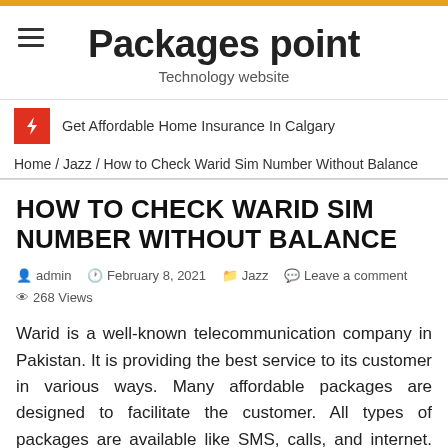Packages point — Technology website
Get Affordable Home Insurance In Calgary
Home / Jazz / How to Check Warid Sim Number Without Balance
HOW TO CHECK WARID SIM NUMBER WITHOUT BALANCE
admin   February 8, 2021   Jazz   Leave a comment   268 Views
Warid is a well-known telecommunication company in Pakistan. It is providing the best service to its customer in various ways. Many affordable packages are designed to facilitate the customer. All types of packages are available like SMS, calls, and internet. You can get any of them as per your requirements. The only thing is to know the USSD code. The services of Warid are not limited to packages